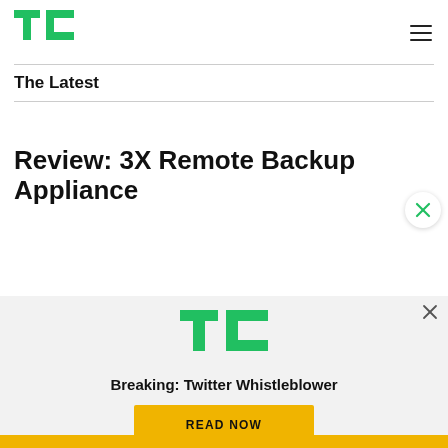TechCrunch logo and navigation
The Latest
Review: 3X Remote Backup Appliance
[Figure (advertisement): TechCrunch advertisement overlay with TC logo, text 'Breaking: Twitter Whistleblower', yellow 'READ NOW' button, and close button]
Yellow bar footer